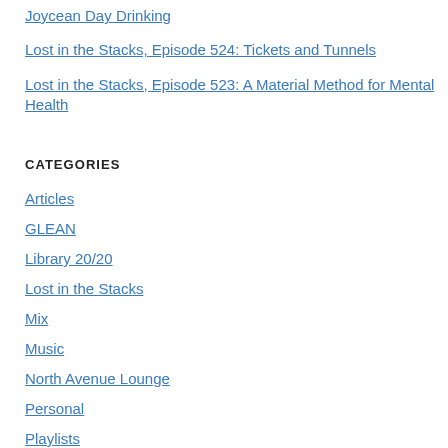Joycean Day Drinking
Lost in the Stacks, Episode 524: Tickets and Tunnels
Lost in the Stacks, Episode 523: A Material Method for Mental Health
CATEGORIES
Articles
GLEAN
Library 20/20
Lost in the Stacks
Mix
Music
North Avenue Lounge
Personal
Playlists
Radio and Podcasting